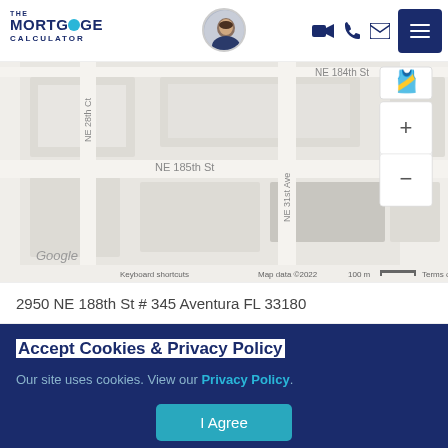THE MORTGAGE CALCULATOR
[Figure (map): Google Maps view showing NE 184th St, NE 185th St, NE 28th Ct, NE 31st Ave area in Aventura FL. Map data ©2022. Scale: 100m. Keyboard shortcuts and Terms of Use links shown.]
2950 NE 188th St # 345 Aventura FL 33180
Accept Cookies & Privacy Policy
Our site uses cookies. View our Privacy Policy.
I Agree